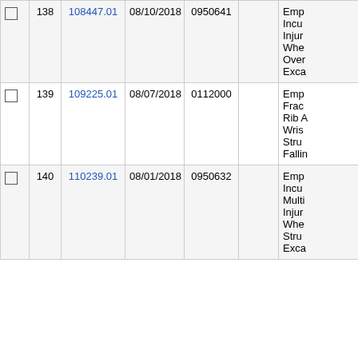|  | # | Claim No. | Date | Code |  | Description |
| --- | --- | --- | --- | --- | --- | --- |
| ☐ | 138 | 108447.01 | 08/10/2018 | 0950641 |  | Emp
Incu
Injur
Whe
Over
Exca |
| ☐ | 139 | 109225.01 | 08/07/2018 | 0112000 |  | Emp
Frac
Rib A
Wris
Stru
Fallin |
| ☐ | 140 | 110239.01 | 08/01/2018 | 0950632 |  | Emp
Incu
Multi
Injur
Whe
Stru
Exca |